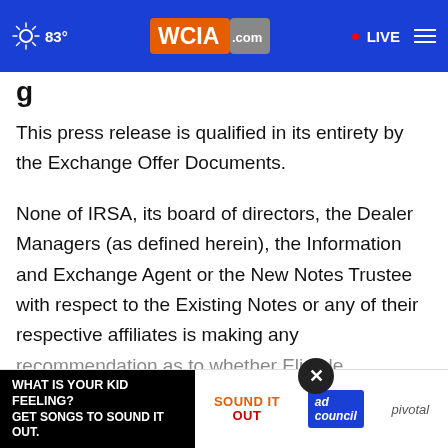WCIA.com | 83° | LIVE
g
This press release is qualified in its entirety by the Exchange Offer Documents.
None of IRSA, its board of directors, the Dealer Managers (as defined herein), the Information and Exchange Agent or the New Notes Trustee with respect to the Existing Notes or any of their respective affiliates is making any recommendation as to whether Eligible Holders should Exchange Offer. Holders must make their own